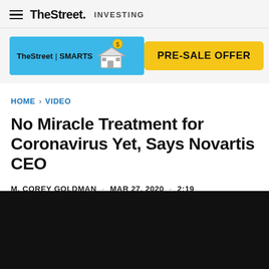TheStreet INVESTING
[Figure (screenshot): TheStreet SMARTS promotional banner (blue background) with illustrated building/store icon]
[Figure (screenshot): PRE-SALE OFFER button in yellow/gold color]
HOME > VIDEO
No Miracle Treatment for Coronavirus Yet, Says Novartis CEO
M. COREY GOLDMAN · MAR 27, 2020 · 2:19
[Figure (screenshot): Black video player area at bottom of page]